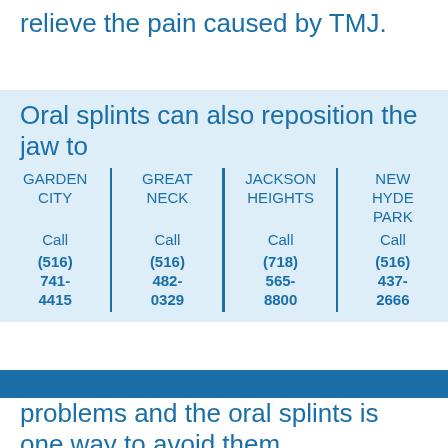relieve the pain caused by TMJ.
Oral splints can also reposition the jaw to
| GARDEN CITY | GREAT NECK | JACKSON HEIGHTS | NEW HYDE PARK |
| --- | --- | --- | --- |
| Call | Call | Call | Call |
| (516) 741-4415 | (516) 482-0329 | (718) 565-8800 | (516) 437-2666 |
problems and the oral splints is one way to avoid them.
For more information about his and other oral health issues, contact the dental professionals at our offices.